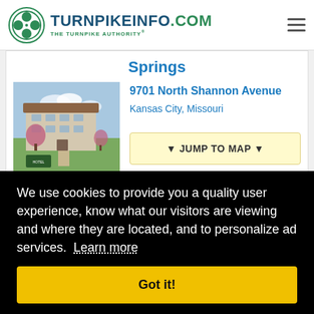TURNPIKEINFO.COM THE TURNPIKE AUTHORITY®
Springs
9701 North Shannon Avenue
Kansas City, Missouri
[Figure (photo): Exterior photo of hotel building with landscaping]
▼ JUMP TO MAP ▼
We use cookies to provide you a quality user experience, know what our visitors are viewing and where they are located, and to personalize ad services. Learn more
Got it!
▲ ALL AMENITIES ▼